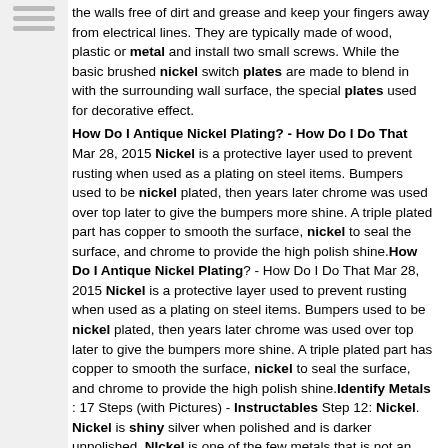the walls free of dirt and grease and keep your fingers away from electrical lines. They are typically made of wood, plastic or metal and install two small screws. While the basic brushed nickel switch plates are made to blend in with the surrounding wall surface, the special plates used for decorative effect.
How Do I Antique Nickel Plating? - How Do I Do That
Mar 28, 2015 Nickel is a protective layer used to prevent rusting when used as a plating on steel items. Bumpers used to be nickel plated, then years later chrome was used over top later to give the bumpers more shine. A triple plated part has copper to smooth the surface, nickel to seal the surface, and chrome to provide the high polish shine.How Do I Antique Nickel Plating? - How Do I Do That Mar 28, 2015 Nickel is a protective layer used to prevent rusting when used as a plating on steel items. Bumpers used to be nickel plated, then years later chrome was used over top later to give the bumpers more shine. A triple plated part has copper to smooth the surface, nickel to seal the surface, and chrome to provide the high polish shine.Identify Metals : 17 Steps (with Pictures) - Instructables Step 12: Nickel. Nickel is shiny silver when polished and is darker unpolished. NIckel is one of the few metals that is not an iron alloy that is magnetic (5 US nickels are not magnetic because there made of a copper nickel alloy). Nickels melting point is 1452C (2645F). Nickels density is 8.902 g/cm 3.